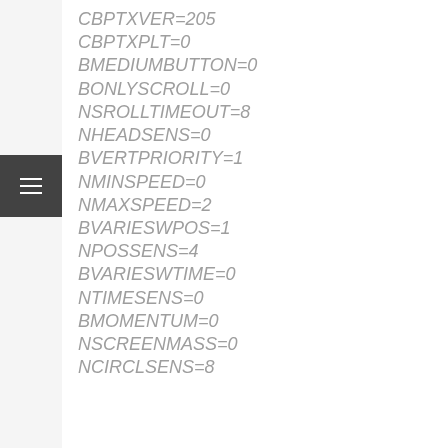CBPTXVER=205
CBPTXPLT=0
BMEDIUMBUTTON=0
BONLYSCROLL=0
NSROLLTIMEOUT=8
NHEADSENS=0
BVERTPRIORITY=1
NMINSPEED=0
NMAXSPEED=2
BVARIESWPOS=1
NPOSSENS=4
BVARIESWTIME=0
NTIMESENS=0
BMOMENTUM=0
NSCREENMASS=0
NCIRCLSENS=8